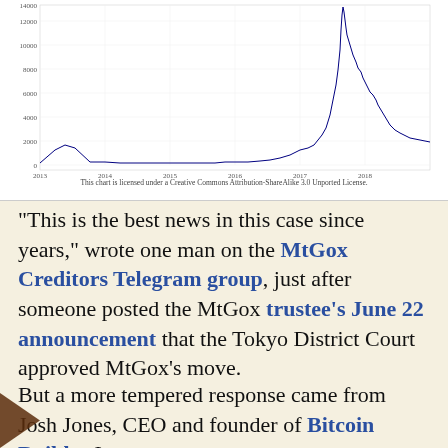[Figure (continuous-plot): Bitcoin price chart from 2013 to 2018, showing a dramatic spike near late 2017/early 2018 reaching approximately 14000, then declining. Y-axis shows values 0 to 14000. X-axis shows years 2013 through 2018.]
This chart is licensed under a Creative Commons Attribution-ShareAlike 3.0 Unported License.
“This is the best news in this case since years,” wrote one man on the MtGox Creditors Telegram group, just after someone posted the MtGox trustee’s June 22 announcement that the Tokyo District Court approved MtGox’s move.
But a more tempered response came from Josh Jones, CEO and founder of Bitcoin Builder Inc.,